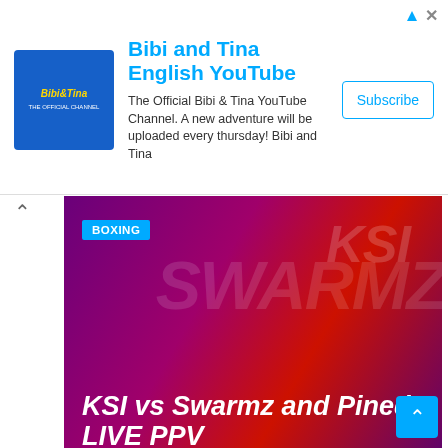[Figure (screenshot): Advertisement banner for Bibi and Tina English YouTube channel with channel logo, title, description text, and Subscribe button]
[Figure (photo): Boxing article card with purple/magenta background showing KSI vs Swarmz and Pineda LIVE PPV with BOXING tag, date AUG 27, 2022 and author SRTWA]
[Figure (photo): Boxing article card with dark background showing Usyk vs. Joshua Fight Live PPV Online with BOXING tag, date AUG 20, 2022 and author SRTWA, partially visible at bottom of page]